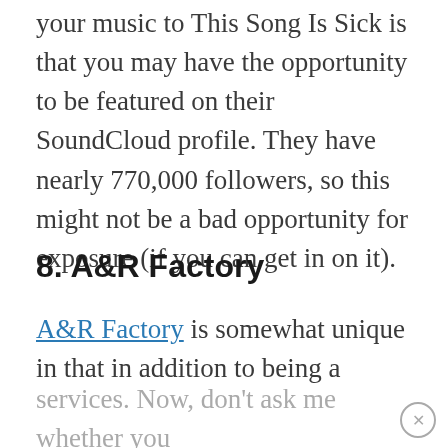your music to This Song Is Sick is that you may have the opportunity to be featured on their SoundCloud profile. They have nearly 770,000 followers, so this might not be a bad opportunity for exposure (if you can get in on it).
8. A&R Factory
A&R Factory is somewhat unique in that in addition to being a popular music review blog, they also offer artists development packages and consulting
services. Now, don't ask me whether you